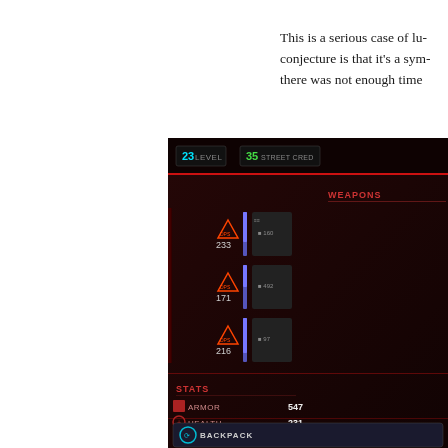This is a serious case of lu... conjecture is that it's a sym... there was not enough time
[Figure (screenshot): Screenshot of a video game UI (Cyberpunk 2077 character stats screen) showing Level 23, Street Cred 35, Weapons section with DPS values 233, 171, 216, Stats section with Armor 547, Health 231, Stamina 130, and a Backpack section at the bottom.]